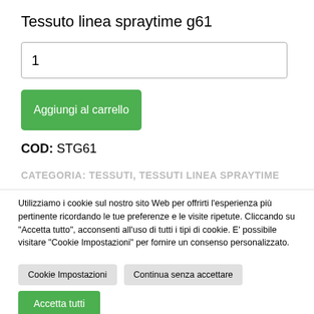Tessuto linea spraytime g61
1
Aggiungi al carrello
COD: STG61
Categoria: TESSUTI, TESSUTI LINEA SPRAYTIME
Utilizziamo i cookie sul nostro sito Web per offrirti l'esperienza più pertinente ricordando le tue preferenze e le visite ripetute. Cliccando su "Accetta tutto", acconsenti all'uso di tutti i tipi di cookie. E' possibile visitare "Cookie Impostazioni" per fornire un consenso personalizzato.
Cookie Impostazioni
Continua senza accettare
Accetta tutti